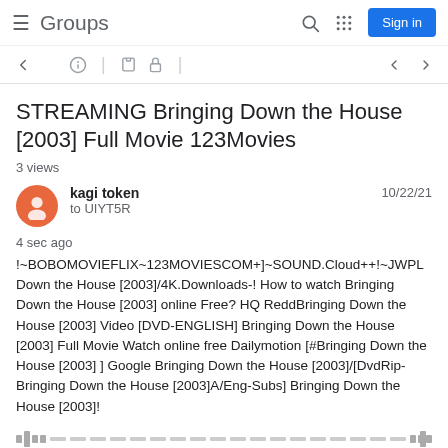Groups  Sign in
STREAMING Bringing Down the House [2003] Full Movie 123Movies
3 views
kagi token  to UIYT5R  10/22/21
4 sec ago
!~BOBOMOVIEFLIX~123MOVIESCOM+]~SOUND.Cloud++!~JWPL Down the House [2003]/4K.Downloads-! How to watch Bringing Down the House [2003] online Free? HQ ReddBringing Down the House [2003] Video [DVD-ENGLISH] Bringing Down the House [2003] Full Movie Watch online free Dailymotion [#Bringing Down the House [2003] ] Google Bringing Down the House [2003]/[DvdRip-Bringing Down the House [2003]A/Eng-Subs] Bringing Down the House [2003]!